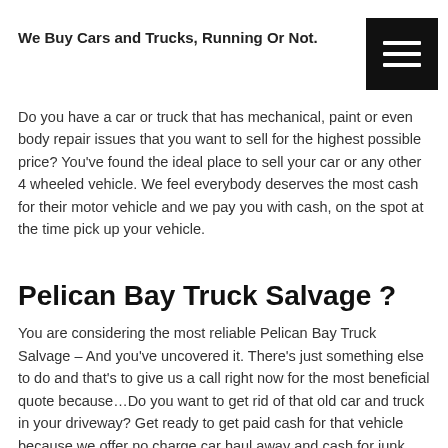We Buy Cars and Trucks, Running Or Not.
Do you have a car or truck that has mechanical, paint or even body repair issues that you want to sell for the highest possible price? You've found the ideal place to sell your car or any other 4 wheeled vehicle. We feel everybody deserves the most cash for their motor vehicle and we pay you with cash, on the spot at the time pick up your vehicle.
Pelican Bay Truck Salvage ?
You are considering the most reliable Pelican Bay Truck Salvage – And you've uncovered it. There's just something else to do and that's to give us a call right now for the most beneficial quote because…Do you want to get rid of that old car and truck in your driveway? Get ready to get paid cash for that vehicle because we offer no charge car haul away and cash for junk cars, trucks, vans and other clunkers